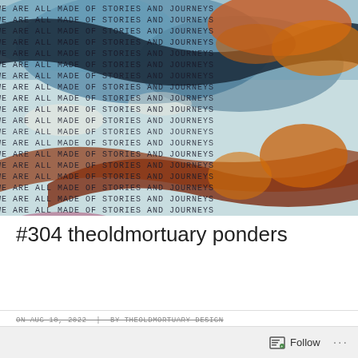[Figure (illustration): Mixed media artwork with layered paint and texture. Repeating typewriter text reading 'WE ARE ALL MADE OF STORIES AND JOURNEYS' in dark letters across the image, overlaid with abstract brushstrokes and paint washes in blue, teal, orange, rust, brown, pink, and purple colors creating a collage-like appearance.]
#304 theoldmortuary ponders
ON AUG 10, 2022 | BY THEOLDMORTUARY DESIGN